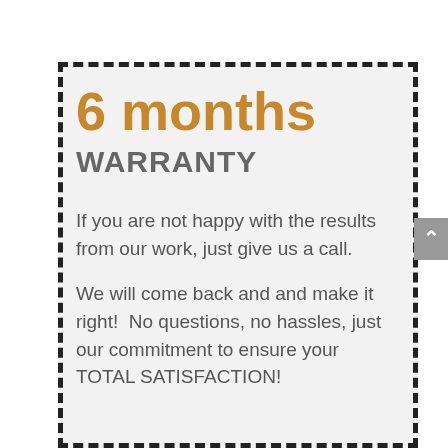6 months
WARRANTY
If you are not happy with the results from our work, just give us a call.
We will come back and and make it right!  No questions, no hassles, just our commitment to ensure your TOTAL SATISFACTION!